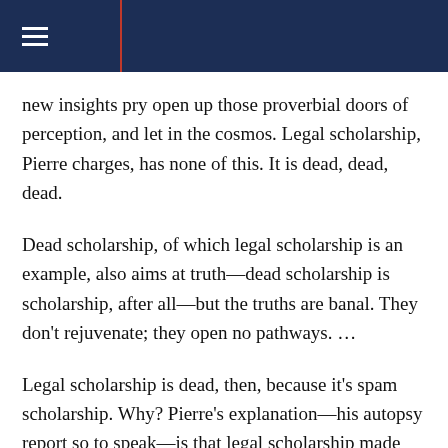new insights pry open up those proverbial doors of perception, and let in the cosmos. Legal scholarship, Pierre charges, has none of this. It is dead, dead, dead.
Dead scholarship, of which legal scholarship is an example, also aims at truth—dead scholarship is scholarship, after all—but the truths are banal. They don't rejuvenate; they open no pathways. …
Legal scholarship is dead, then, because it's spam scholarship. Why? Pierre's explanation—his autopsy report so to speak—is that legal scholarship made the fatal mistake (way back when) of adopting, basically, the judicial opinion (and the lawyer's brief) as its essential form. And the judicial opinion, for better or worse, aims quite intentionally for spam. Legal scholarship aims to imitate adjudication. And